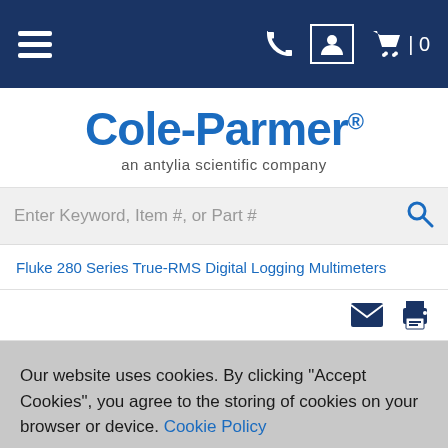[Figure (screenshot): Cole-Parmer website navigation bar with hamburger menu, phone icon, user account icon (boxed), and shopping cart icon with 0 items, on dark navy background]
[Figure (logo): Cole-Parmer logo in blue with registered trademark symbol and subtitle 'an antylia scientific company']
Enter Keyword, Item #, or Part #
Fluke 280 Series True-RMS Digital Logging Multimeters
Our website uses cookies. By clicking “Accept Cookies”, you agree to the storing of cookies on your browser or device. Cookie Policy
ACCEPT COOKIES